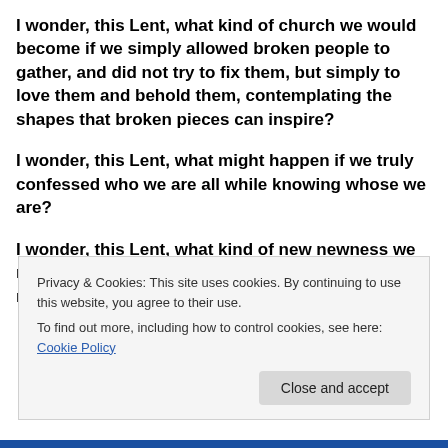I wonder, this Lent, what kind of church we would become if we simply allowed broken people to gather, and did not try to fix them, but simply to love them and behold them, contemplating the shapes that broken pieces can inspire?
I wonder, this Lent, what might happen if we truly confessed who we are all while knowing whose we are?
I wonder, this Lent, what kind of new newness we might discover through the One who comes to make
Privacy & Cookies: This site uses cookies. By continuing to use this website, you agree to their use.
To find out more, including how to control cookies, see here: Cookie Policy